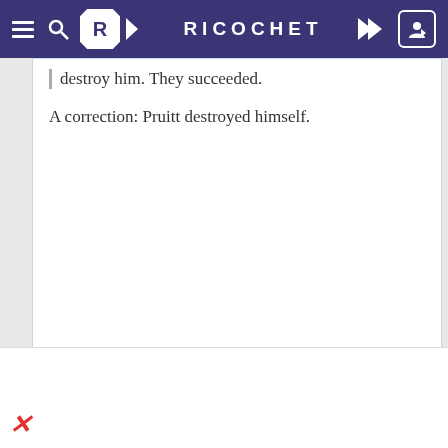RICOCHET
destroy him. They succeeded.
A correction: Pruitt destroyed himself.